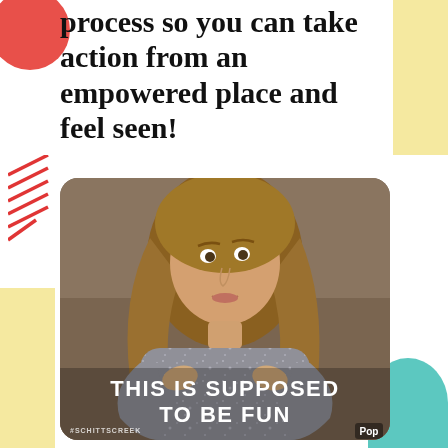process so you can take action from an empowered place and feel seen!
[Figure (photo): A woman with long wavy blonde hair wearing a sparkly silver top, looking upward with a surprised or exasperated expression. White subtitle text reads 'THIS IS SUPPOSED TO BE FUN'. Watermarks: '#SCHITTSCREEK' bottom left and 'Pop' logo bottom right. Still from the TV show Schitt's Creek on Pop network.]